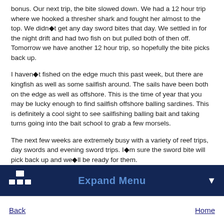bonus. Our next trip, the bite slowed down. We had a 12 hour trip where we hooked a thresher shark and fought her almost to the top. We didn t get any day sword bites that day. We settled in for the night drift and had two fish on but pulled both of then off. Tomorrow we have another 12 hour trip, so hopefully the bite picks back up.
I haven t fished on the edge much this past week, but there are kingfish as well as some sailfish around. The sails have been both on the edge as well as offshore. This is the time of year that you may be lucky enough to find sailfish offshore balling sardines. This is definitely a cool sight to see sailfishing balling bait and taking turns going into the bait school to grab a few morsels.
The next few weeks are extremely busy with a variety of reef trips, day swords and evening sword trips. I m sure the sword bite will pick back up and we ll be ready for them.
Tight Lines,
Capt. Dean Panos
Back to Main Fishing Report Page
Expand Menu
Back	Home
Full Site